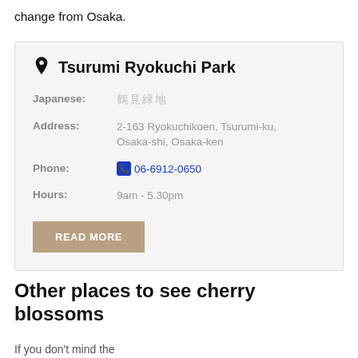change from Osaka.
| Japanese: | 鶴見緑地 |
| Address: | 2-163 Ryokuchikoen, Tsurumi-ku, Osaka-shi, Osaka-ken |
| Phone: | 06-6912-0650 |
| Hours: | 9am - 5.30pm |
Other places to see cherry blossoms
If you don't mind the...